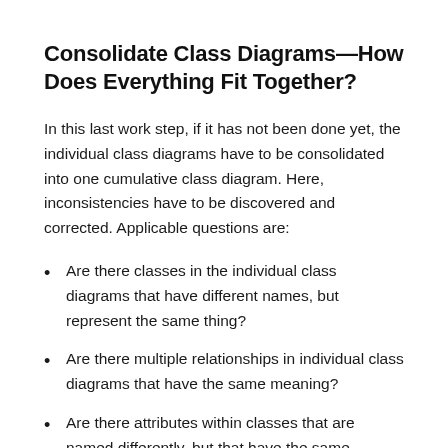Consolidate Class Diagrams—How Does Everything Fit Together?
In this last work step, if it has not been done yet, the individual class diagrams have to be consolidated into one cumulative class diagram. Here, inconsistencies have to be discovered and corrected. Applicable questions are:
Are there classes in the individual class diagrams that have different names, but represent the same thing?
Are there multiple relationships in individual class diagrams that have the same meaning?
Are there attributes within classes that are named differently, but that have the same meaning?